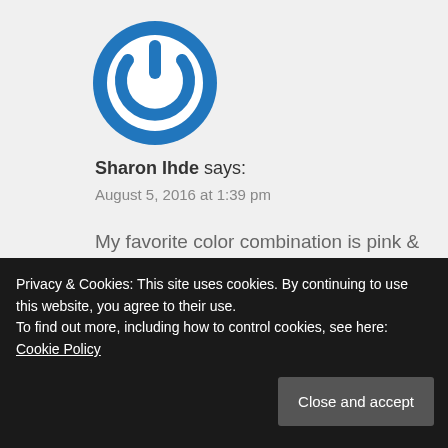[Figure (logo): Blue circular power button icon / avatar]
Sharon Ihde says:
August 5, 2016 at 1:39 pm
My favorite color combination is pink & blue . . . no it's pink & green . . . I think it's black & white . . . oh darn I like all the colors and they all combine so nicely.
↩ Reply
Privacy & Cookies: This site uses cookies. By continuing to use this website, you agree to their use.
To find out more, including how to control cookies, see here: Cookie Policy